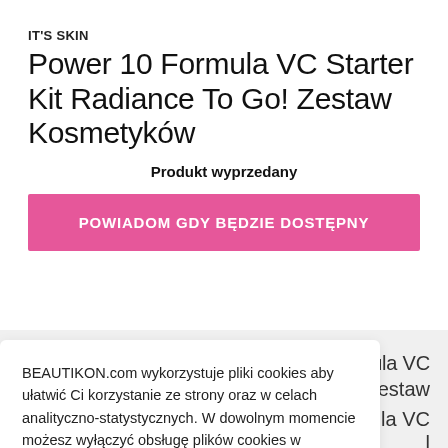IT'S SKIN
Power 10 Formula VC Starter Kit Radiance To Go! Zestaw Kosmetyków
Produkt wyprzedany
POWIADOM GDY BĘDZIE DOSTĘPNY
BEAUTIKON.com wykorzystuje pliki cookies aby ułatwić Ci korzystanie ze strony oraz w celach analityczno-statystycznych. W dowolnym momencie możesz wyłączyć obsługę plików cookies w ustawieniach swojej przeglądarki.
Polityka prywatności
Akceptuję